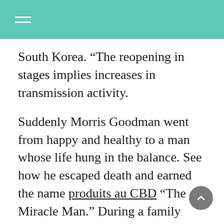South Korea. “The reopening in stages implies increases in transmission activity.
Suddenly Morris Goodman went from happy and healthy to a man whose life hung in the balance. See how he escaped death and earned the name produits au CBD “The Miracle Man.” During a family vacation to a theme park, 2–year–old Andrew complained of what seemed to be a simple stomachache.
Most of the Acid consumed in the past thirty years is believed to have been made in